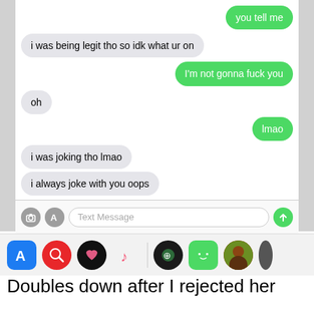[Figure (screenshot): iMessage conversation screenshot showing text bubbles. Green bubbles (sender): 'you tell me', 'I'm not gonna fuck you', 'lmao'. Gray bubbles (receiver): 'i was being legit tho so idk what ur on', 'oh', 'i was joking tho lmao', 'i always joke with you oops'. Input bar with Text Message field and app icons strip below.]
Doubles down after I rejected her